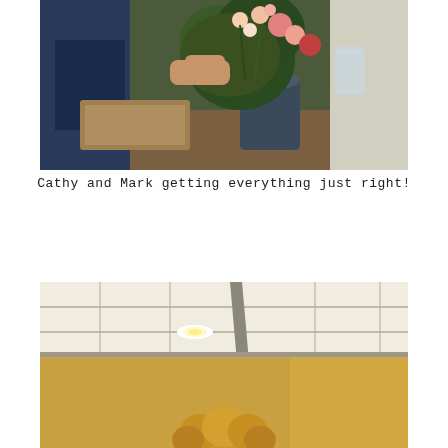[Figure (photo): Photo of Cathy and Mark arranging a large floral bouquet with roses and greenery on a table indoors.]
Cathy and Mark getting everything just right!
[Figure (photo): Photo of a person standing in a room with a drop ceiling with recessed lighting and golden/yellow walls.]